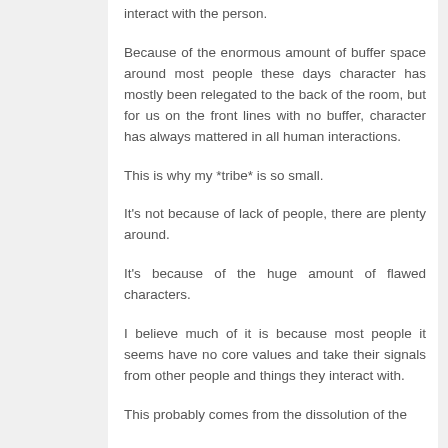interact with the person.
Because of the enormous amount of buffer space around most people these days character has mostly been relegated to the back of the room, but for us on the front lines with no buffer, character has always mattered in all human interactions.
This is why my *tribe* is so small.
It's not because of lack of people, there are plenty around.
It's because of the huge amount of flawed characters.
I believe much of it is because most people it seems have no core values and take their signals from other people and things they interact with.
This probably comes from the dissolution of the